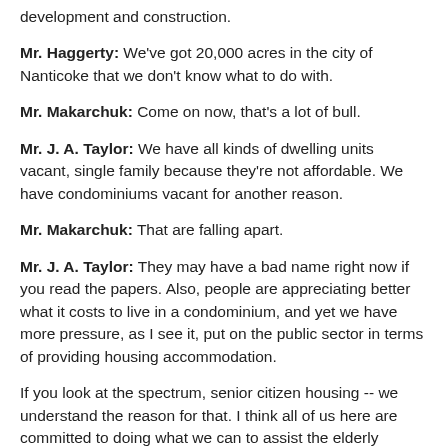development and construction.
Mr. Haggerty: We've got 20,000 acres in the city of Nanticoke that we don't know what to do with.
Mr. Makarchuk: Come on now, that's a lot of bull.
Mr. J. A. Taylor: We have all kinds of dwelling units vacant, single family because they're not affordable. We have condominiums vacant for another reason.
Mr. Makarchuk: That are falling apart.
Mr. J. A. Taylor: They may have a bad name right now if you read the papers. Also, people are appreciating better what it costs to live in a condominium, and yet we have more pressure, as I see it, put on the public sector in terms of providing housing accommodation.
If you look at the spectrum, senior citizen housing -- we understand the reason for that. I think all of us here are committed to doing what we can to assist the elderly